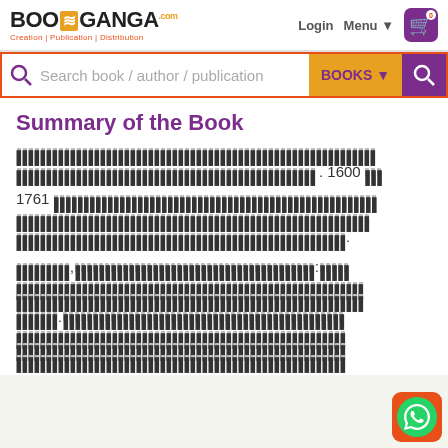[Figure (logo): BooGanga logo with tagline: Creation | Publication | Distribution]
[Figure (screenshot): Search bar with text 'Search book / author / publication', BOOKS dropdown, and search button]
Summary of the Book
Redacted text content with numbers 1600 and 1761 visible
Additional redacted text paragraphs
[Figure (logo): WhatsApp button in bottom-right corner]